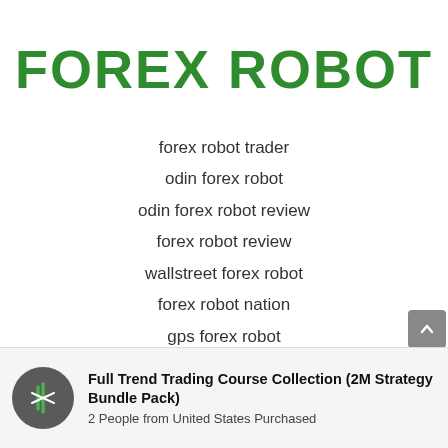FOREX ROBOT
forex robot trader
odin forex robot
odin forex robot review
forex robot review
wallstreet forex robot
forex robot nation
gps forex robot
free forex
Full Trend Trading Course Collection (2M Strategy Bundle Pack)
2 People from United States Purchased